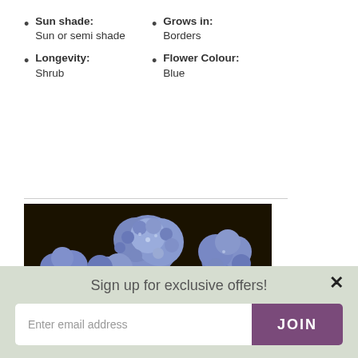Sun shade: Sun or semi shade
Grows in: Borders
Flower Colour: Blue
Longevity: Shrub
[Figure (photo): Close-up photo of blue ceanothus flowers with green leaves]
Sign up for exclusive offers!
Enter email address
JOIN